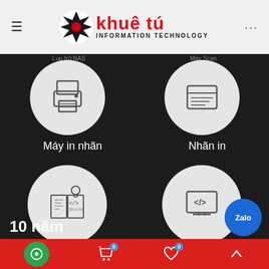[Figure (logo): Khuê Tú Information Technology logo with X star icon in black and red, company name in red bold text]
[Figure (illustration): Mobile app navigation screen showing category icons: Máy in nhãn (label printer), Nhãn in (print label), Giải pháp (solutions), Hỗ trợ (support) on dark background]
Máy in nhãn
Nhãn in
Giải pháp
Hỗ trợ
10 năm